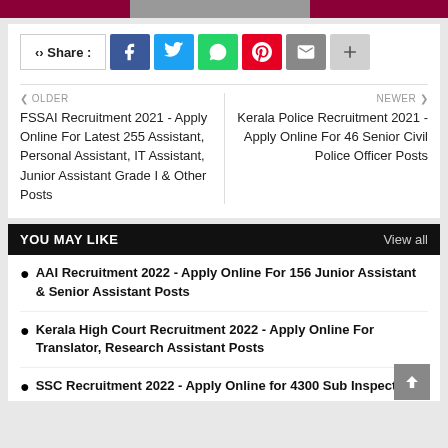[Figure (other): Social share buttons row: Share label, Facebook, Twitter, WhatsApp, Pinterest, Email, and plus icons]
OLDER
FSSAI Recruitment 2021 - Apply Online For Latest 255 Assistant, Personal Assistant, IT Assistant, Junior Assistant Grade I & Other Posts
NEWER
Kerala Police Recruitment 2021 - Apply Online For 46 Senior Civil Police Officer Posts
YOU MAY LIKE   View all
AAI Recruitment 2022 - Apply Online For 156 Junior Assistant & Senior Assistant Posts
Kerala High Court Recruitment 2022 - Apply Online For Translator, Research Assistant Posts
SSC Recruitment 2022 - Apply Online for 4300 Sub Inspector